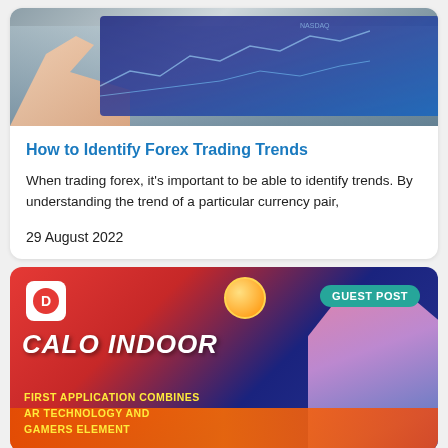[Figure (photo): A hand pointing at financial trading charts on a screen, showing forex market data]
How to Identify Forex Trading Trends
When trading forex, it's important to be able to identify trends. By understanding the trend of a particular currency pair,
29 August 2022
[Figure (photo): Calo Indoor app promotional banner with logo, 'GUEST POST' badge, anime character, coin imagery, and text 'FIRST APPLICATION COMBINES AR TECHNOLOGY AND GAMERS ELEMENT']